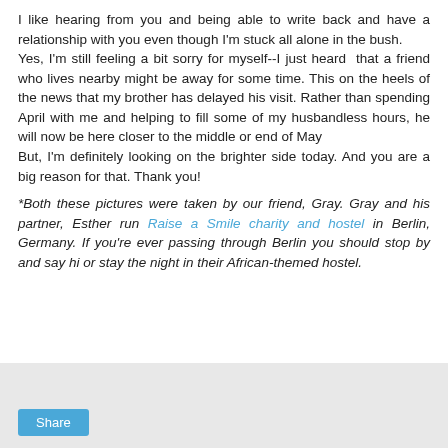I like hearing from you and being able to write back and have a relationship with you even though I'm stuck all alone in the bush.
Yes, I'm still feeling a bit sorry for myself--I just heard  that a friend who lives nearby might be away for some time. This on the heels of the news that my brother has delayed his visit. Rather than spending April with me and helping to fill some of my husbandless hours, he will now be here closer to the middle or end of May
But, I'm definitely looking on the brighter side today. And you are a big reason for that. Thank you!
*Both these pictures were taken by our friend, Gray. Gray and his partner, Esther run Raise a Smile charity and hostel in Berlin, Germany. If you're ever passing through Berlin you should stop by and say hi or stay the night in their African-themed hostel.